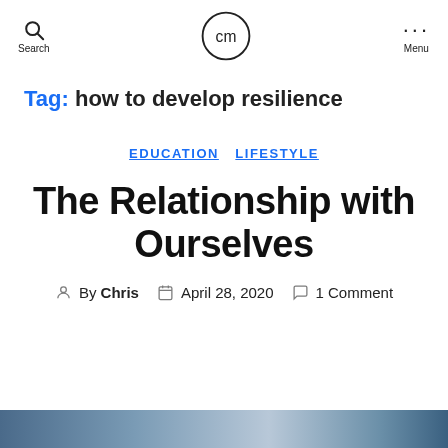Search | cm (logo) | Menu
Tag: how to develop resilience
EDUCATION  LIFESTYLE
The Relationship with Ourselves
By Chris  April 28, 2020  1 Comment
[Figure (photo): Partial image strip at bottom of page, appearing to show a landscape or outdoor scene]